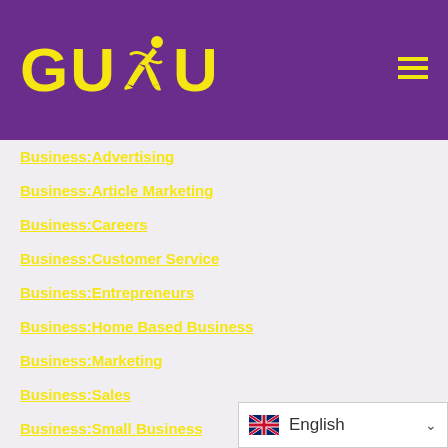[Figure (logo): GUDU logo with runner figure in yellow on purple background, with hamburger menu icon]
Business:Advertising
Business:Article Marketing
Business:Careers
Business:Customer Service
Business:Entrepreneurs
Business:Home Based Business
Business:Marketing
Business:Sales
Business:Small Business
BusinessAdvertising
BusinessArticle Marketing
BusinessCareers
[Figure (other): Language selector showing UK flag and English with dropdown arrow]